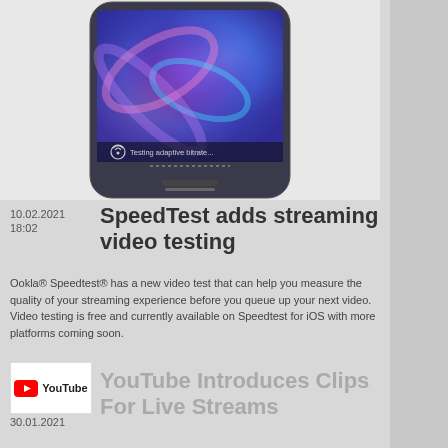[Figure (photo): Smartphone displaying a colorful swirling purple/blue wallpaper with text 'Testing adaptive bitrate...' at the bottom of the screen]
10.02.2021
18:02
SpeedTest adds streaming video testing
Ookla® Speedtest® has a new video test that can help you measure the quality of your streaming experience before you queue up your next video. Video testing is free and currently available on Speedtest for iOS with more platforms coming soon.
[Figure (logo): YouTube logo — red play button icon with 'YouTube' text]
30.01.2021
YouTube Introduces Clips For Live Streams